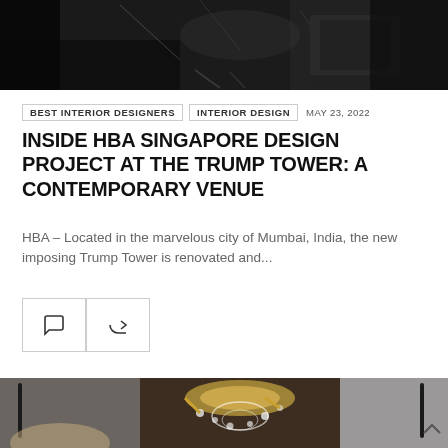[Figure (photo): Dark dramatic interior scene, partially visible at top of page]
BEST INTERIOR DESIGNERS   INTERIOR DESIGN   MAY 23, 2022
INSIDE HBA SINGAPORE DESIGN PROJECT AT THE TRUMP TOWER: A CONTEMPORARY VENUE
HBA – Located in the marvelous city of Mumbai, India, the new imposing Trump Tower is renovated and...
[Figure (photo): Interior design photo showing an ornate chandelier with gold and crystal details in a luxury hotel lobby]